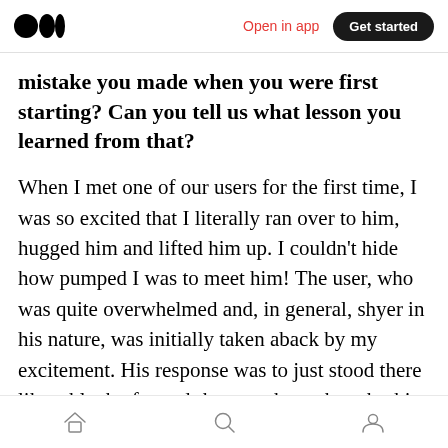Medium logo | Open in app | Get started
mistake you made when you were first starting? Can you tell us what lesson you learned from that?
When I met one of our users for the first time, I was so excited that I literally ran over to him, hugged him and lifted him up. I couldn't hide how pumped I was to meet him! The user, who was quite overwhelmed and, in general, shyer in his nature, was initially taken aback by my excitement. His response was to just stood there like a block of wood- he must have thought this
Home | Search | Profile